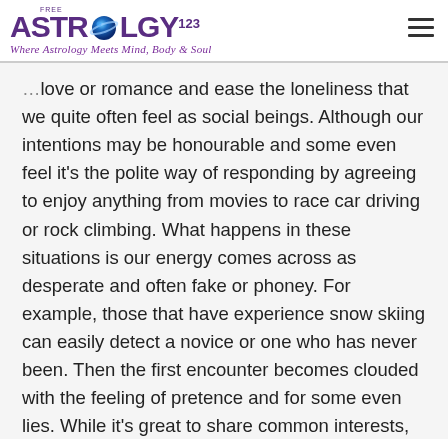FREE ASTROLOGY123 — Where Astrology Meets Mind, Body & Soul
love or romance and ease the loneliness that we quite often feel as social beings. Although our intentions may be honourable and some even feel it's the polite way of responding by agreeing to enjoy anything from movies to race car driving or rock climbing. What happens in these situations is our energy comes across as desperate and often fake or phoney. For example, those that have experience snow skiing can easily detect a novice or one who has never been. Then the first encounter becomes clouded with the feeling of pretence and for some even lies. While it's great to share common interests, it's also okay to explore